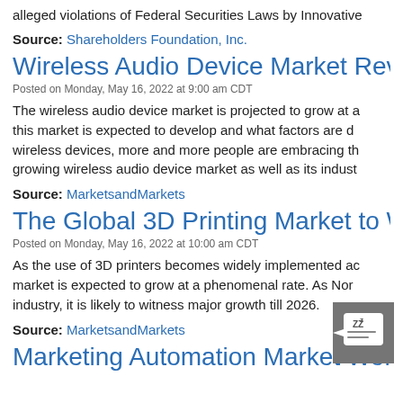alleged violations of Federal Securities Laws by Innovative
Source: Shareholders Foundation, Inc.
Wireless Audio Device Market Revenu
Posted on Monday, May 16, 2022 at 9:00 am CDT
The wireless audio device market is projected to grow at a this market is expected to develop and what factors are d wireless devices, more and more people are embracing th growing wireless audio device market as well as its indust
Source: MarketsandMarkets
The Global 3D Printing Market to Witn
Posted on Monday, May 16, 2022 at 10:00 am CDT
As the use of 3D printers becomes widely implemented ac market is expected to grow at a phenomenal rate. As Nor industry, it is likely to witness major growth till 2026.
Source: MarketsandMarkets
Marketing Automation Market Worth